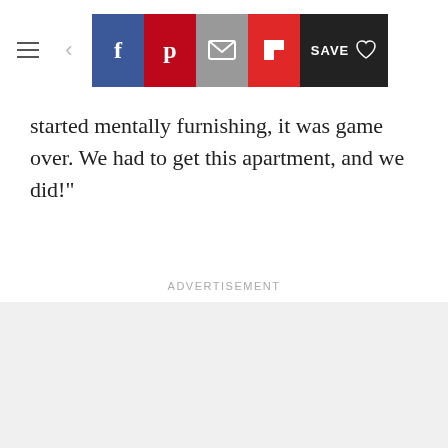Toolbar with navigation and social share buttons: hamburger menu, back arrow, Facebook, Pinterest, Email, Flipboard, Save
started mentally furnishing, it was game over. We had to get this apartment, and we did!"
Advertisement